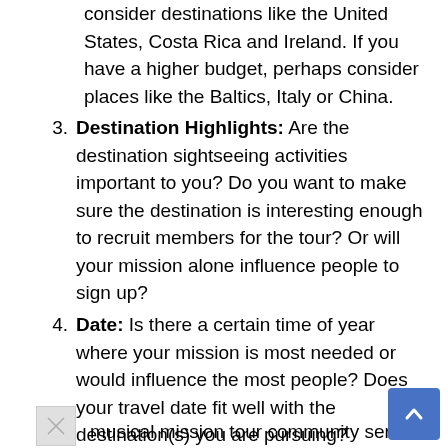consider destinations like the United States, Costa Rica and Ireland. If you have a higher budget, perhaps consider places like the Baltics, Italy or China.
Destination Highlights: Are the destination sightseeing activities important to you? Do you want to make sure the destination is interesting enough to recruit members for the tour? Or will your mission alone influence people to sign up?
Date: Is there a certain time of year where your mission is most needed or would influence the most people? Does your travel date fit well with the destination(s) you are pursuing?
musical mission tour community service